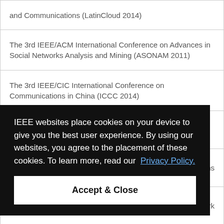| and Communications (LatinCloud 2014) |
| The 3rd IEEE/ACM International Conference on Advances in Social Networks Analysis and Mining (ASONAM 2011) |
| The 3rd IEEE/CIC International Conference on Communications in China (ICCC 2014) |
| The 3rd International Conference on Contemporary Computing (IC3 2010) |
| …ons |
| …ork |
| …on |
| …s in Social Networks Analysis and Mining (ASONAM 2012) |
IEEE websites place cookies on your device to give you the best user experience. By using our websites, you agree to the placement of these cookies. To learn more, read our Privacy Policy.
Accept & Close